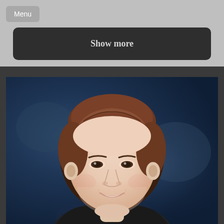[Figure (screenshot): UI screenshot showing a 'Menu' button in top left on a gray background, and a dark rounded 'Show more' button below it]
[Figure (photo): Professional headshot of a woman with short brown hair, smiling, wearing a dark jacket, against a dark blue mottled background]